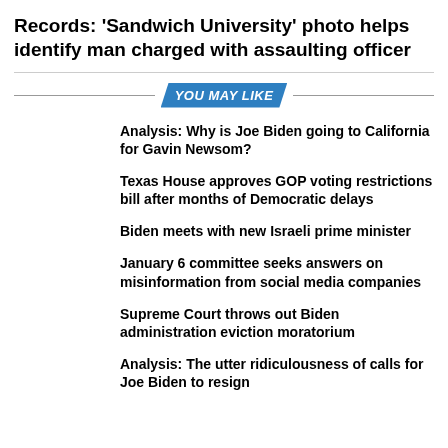Records: 'Sandwich University' photo helps identify man charged with assaulting officer
YOU MAY LIKE
Analysis: Why is Joe Biden going to California for Gavin Newsom?
Texas House approves GOP voting restrictions bill after months of Democratic delays
Biden meets with new Israeli prime minister
January 6 committee seeks answers on misinformation from social media companies
Supreme Court throws out Biden administration eviction moratorium
Analysis: The utter ridiculousness of calls for Joe Biden to resign